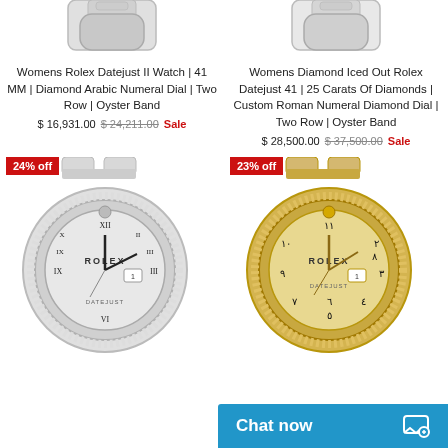[Figure (photo): Cropped top portion of a silver diamond-encrusted Rolex Datejust watch on white background]
[Figure (photo): Cropped top portion of a diamond-encrusted Rolex Datejust watch on white background]
Womens Rolex Datejust II Watch | 41 MM | Diamond Arabic Numeral Dial | Two Row | Oyster Band
$ 16,931.00  $ 24,211.00  Sale
Womens Diamond Iced Out Rolex Datejust 41 | 25 Carats Of Diamonds | Custom Roman Numeral Diamond Dial | Two Row | Oyster Band
$ 28,500.00  $ 37,500.00  Sale
[Figure (photo): Silver fully diamond-encrusted Rolex Datejust watch with Roman numeral dial, 24% off badge]
[Figure (photo): Gold diamond-encrusted Rolex Datejust watch with Arabic numeral dial, 23% off badge]
Chat now